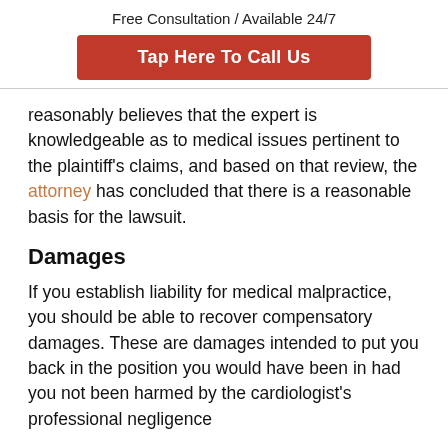Free Consultation / Available 24/7
[Figure (other): Red button with white bold text: Tap Here To Call Us]
reasonably believes that the expert is knowledgeable as to medical issues pertinent to the plaintiff's claims, and based on that review, the attorney has concluded that there is a reasonable basis for the lawsuit.
Damages
If you establish liability for medical malpractice, you should be able to recover compensatory damages. These are damages intended to put you back in the position you would have been in had you not been harmed by the cardiologist's professional negligence